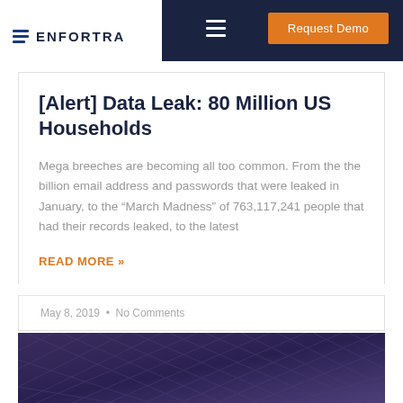ENFORTRA | Request Demo
[Alert] Data Leak: 80 Million US Households
Mega breeches are becoming all too common. From the the billion email address and passwords that were leaked in January, to the “March Madness” of 763,117,241 people that had their records leaked, to the latest
READ MORE »
May 8, 2019  •  No Comments
[Figure (photo): Dark purple/gray woven or textured pattern, partial image at the bottom of the page]